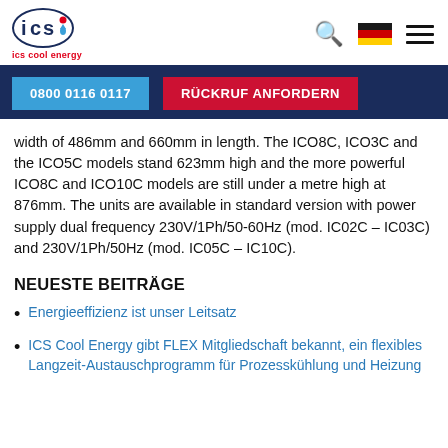ics cool energy
0800 0116 0117
RÜCKRUF ANFORDERN
width of 486mm and 660mm in length. The ICO8C, ICO3C and the ICO5C models stand 623mm high and the more powerful ICO8C and ICO10C models are still under a metre high at 876mm. The units are available in standard version with power supply dual frequency 230V/1Ph/50-60Hz (mod. IC02C – IC03C) and 230V/1Ph/50Hz (mod. IC05C – IC10C).
NEUESTE BEITRÄGE
Energieeffizienz ist unser Leitsatz
ICS Cool Energy gibt FLEX Mitgliedschaft bekannt, ein flexibles Langzeit-Austauschprogramm für Prozesskühlung und Heizung